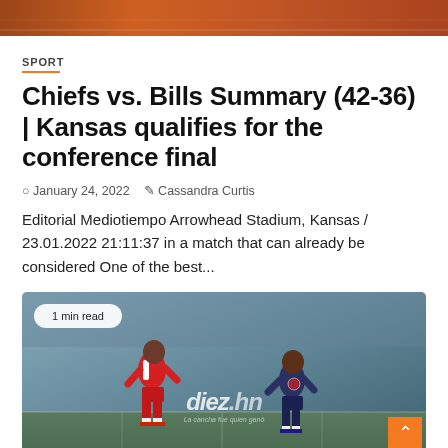[Figure (photo): Top banner image with orange/brown tones, partially visible at top of page]
SPORT
Chiefs vs. Bills Summary (42-36) | Kansas qualifies for the conference final
January 24, 2022   Cassandra Curtis
Editorial Mediotiempo Arrowhead Stadium, Kansas / 23.01.2022 21:11:37 in a match that can already be considered One of the best...
[Figure (photo): Soccer match photo showing two players running, one in red and white uniform, one in dark uniform, with diez.hn watermark overlay and '1 min read' badge]